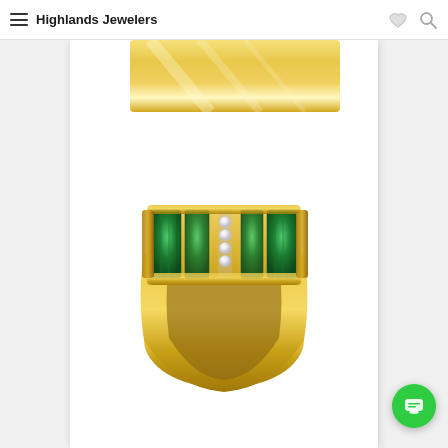Highlands Jewelers
[Figure (photo): Product page showing a gold ring with emerald baguettes and diamond accents arranged in vertical channels on the top face, yellow gold band, viewed from front angle. Website of Highlands Jewelers with navigation bar at top.]